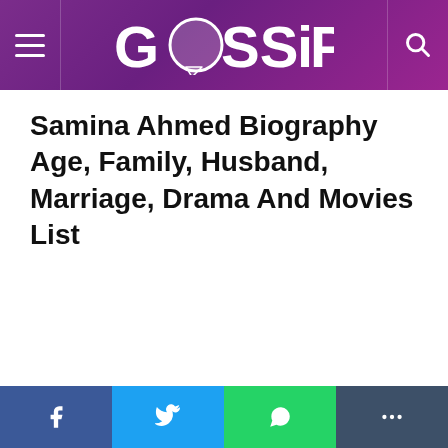GOSSIP
Samina Ahmed Biography Age, Family, Husband, Marriage, Drama And Movies List